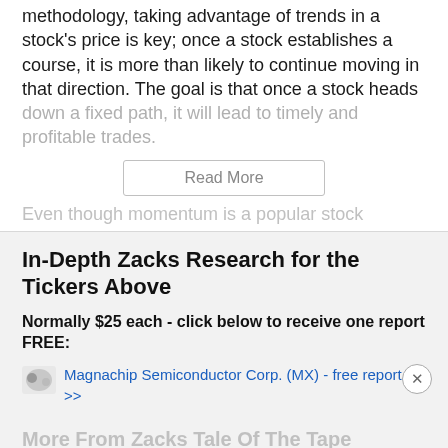methodology, taking advantage of trends in a stock's price is key; once a stock establishes a course, it is more than likely to continue moving in that direction. The goal is that once a stock heads down a fixed path, it will lead to timely and profitable trades.
Read More
Even though momentum is a popular stock
In-Depth Zacks Research for the Tickers Above
Normally $25 each - click below to receive one report FREE:
Magnachip Semiconductor Corp. (MX) - free report >>
More From Zacks Tale Of The Tape